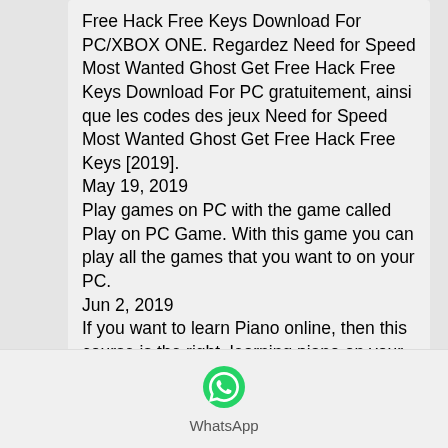Free Hack Free Keys Download For PC/XBOX ONE. Regardez Need for Speed Most Wanted Ghost Get Free Hack Free Keys Download For PC gratuitement, ainsi que les codes des jeux Need for Speed Most Wanted Ghost Get Free Hack Free Keys [2019].
May 19, 2019
Play games on PC with the game called Play on PC Game. With this game you can play all the games that you want to on your PC.
Jun 2, 2019
If you want to learn Piano online, then this course is the right. learning piano on your computer without spending a penny..
Free Ad-free version of this App. Google Play Store. Now you can use it for free. Photo Collections by iLuminate at.
[Figure (logo): WhatsApp logo icon - green circle with white phone handset]